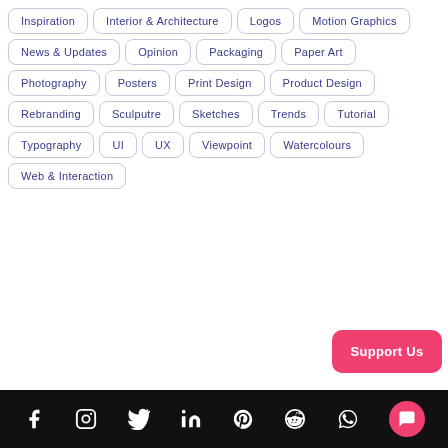Inspiration
Interior & Architecture
Logos
Motion Graphics
News & Updates
Opinion
Packaging
Paper Art
Photography
Posters
Print Design
Product Design
Rebranding
Sculputre
Sketches
Trends
Tutorial
Typography
UI
UX
Viewpoint
Watercolours
Web & Interaction
Support Us
Social media icons: Facebook, Instagram, Twitter, LinkedIn, Pinterest, Reddit, WhatsApp, Chat